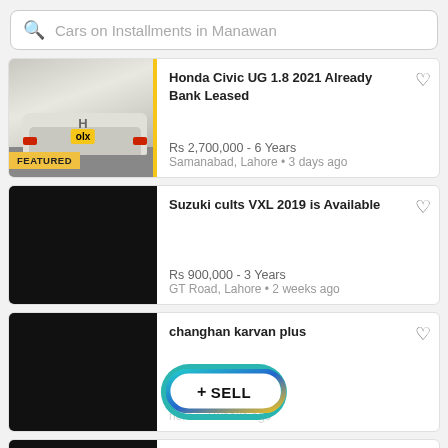Cars on Installments in Manawan
Honda Civic UG 1.8 2021 Already Bank Leased
Rs 2,700,000 - 6 Years
Samanabad, Lahore • 3 days ago
Suzuki cults VXL 2019 is Available
Rs 900,000 - 3 Years
GT Road, Lahore • 2 weeks ago
changhan karvan plus
Rs ... Years
Lahore • 2 weeks ago
[Figure (screenshot): + SELL button overlay with teal/blue/yellow gradient border]